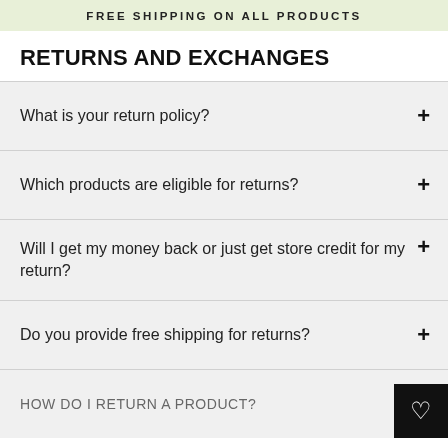FREE SHIPPING ON ALL PRODUCTS
RETURNS AND EXCHANGES
What is your return policy?
Which products are eligible for returns?
Will I get my money back or just get store credit for my return?
Do you provide free shipping for returns?
HOW DO I RETURN A PRODUCT?